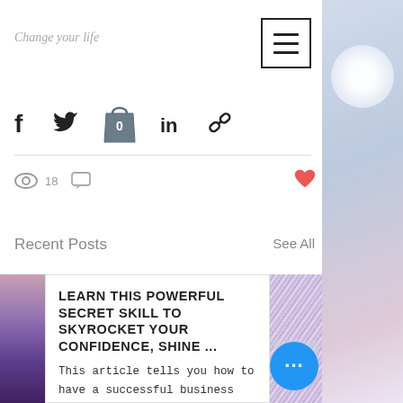Change your life
[Figure (screenshot): Hamburger/menu icon button with three horizontal bars inside a square border]
[Figure (screenshot): Social share icons: Facebook (f), Twitter bird, LinkedIn (in), link/chain icon, and a shopping bag icon with '0' badge]
[Figure (screenshot): Post stats row: eye icon with count 18, comment bubble icon, and a red heart icon on the right]
Recent Posts
See All
[Figure (screenshot): Blog post card with purple/pink left image, title 'LEARN THIS POWERFUL SECRET SKILL TO SKYROCKET YOUR CONFIDENCE, SHINE ...', body text 'This article tells you how to have a successful business based on the story you create.', and glittery right image]
[Figure (screenshot): Blue circular FAB button with three dots (ellipsis)]